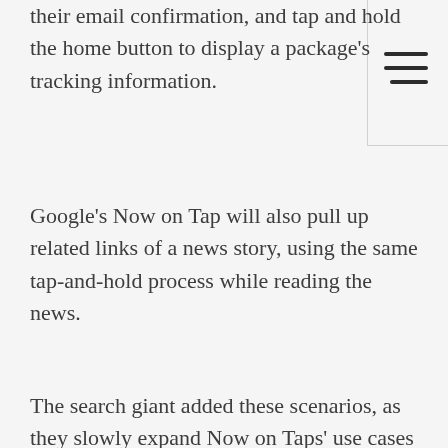their email confirmation, and tap and hold the home button to display a package's tracking information.
Google's Now on Tap will also pull up related links of a news story, using the same tap-and-hold process while reading the news.
The search giant added these scenarios, as they slowly expand Now on Taps' use cases and services.
Now on Tap is a contextual search feature that enables users to obtain more information without exiting one app to access another. It works as a connectiv